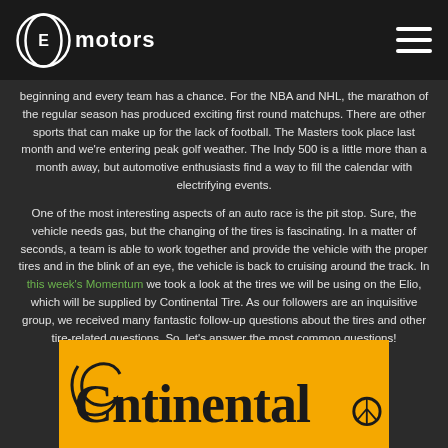Elio motors
beginning and every team has a chance. For the NBA and NHL, the marathon of the regular season has produced exciting first round matchups. There are other sports that can make up for the lack of football. The Masters took place last month and we're entering peak golf weather. The Indy 500 is a little more than a month away, but automotive enthusiasts find a way to fill the calendar with electrifying events.
One of the most interesting aspects of an auto race is the pit stop. Sure, the vehicle needs gas, but the changing of the tires is fascinating. In a matter of seconds, a team is able to work together and provide the vehicle with the proper tires and in the blink of an eye, the vehicle is back to cruising around the track. In this week's Momentum we took a look at the tires we will be using on the Elio, which will be supplied by Continental Tire. As our followers are an inquisitive group, we received many fantastic follow-up questions about the tires and other tire-related questions. So, let's answer the most common questions!
[Figure (logo): Continental tire logo on yellow/amber background]